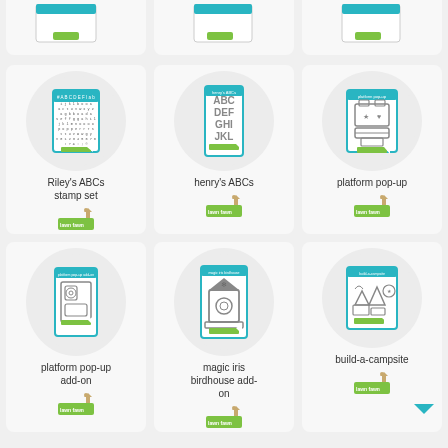[Figure (photo): Partial top row of three product cards with Lawn Fawn logos visible at bottom]
[Figure (photo): Riley's ABCs stamp set product card with alphabet stamp sheet image in circle]
Riley's ABCs stamp set
[Figure (photo): henry's ABCs product card with bold alphabet letters image in circle]
henry's ABCs
[Figure (photo): platform pop-up product card with box mechanism die cut image in circle]
platform pop-up
[Figure (photo): platform pop-up add-on product card with card mechanism die cut image in oval]
platform pop-up add-on
[Figure (photo): magic iris birdhouse add-on product card with birdhouse clock design in oval]
magic iris birdhouse add-on
[Figure (photo): build-a-campsite product card with campsite elements die cut image in circle]
build-a-campsite